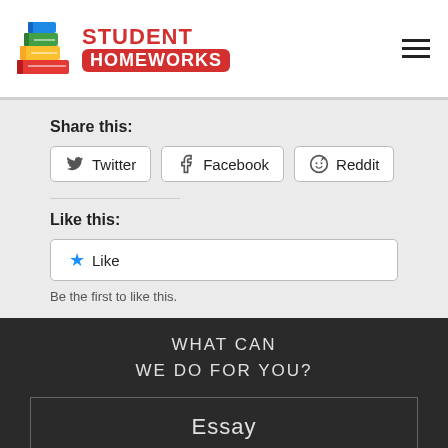[Figure (logo): Student Homeworks logo with stacked books icon and red text]
Share this:
Twitter  Facebook  Reddit
Like this:
Like
Be the first to like this.
WHAT CAN
WE DO FOR YOU?
Essay
Research Paper